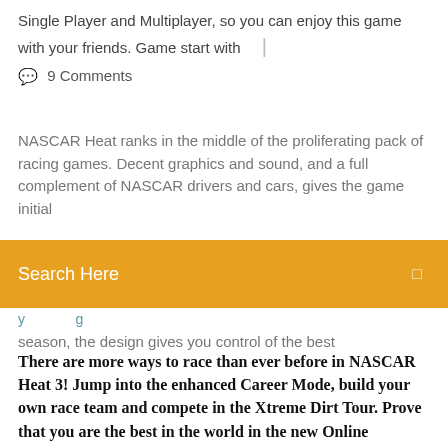Single Player and Multiplayer, so you can enjoy this game with your friends. Game start with   |
💬  9 Comments
NASCAR Heat ranks in the middle of the proliferating pack of racing games. Decent graphics and sound, and a full complement of NASCAR drivers and cars, gives the game initial
[Figure (screenshot): Orange search bar overlay with text 'Search Here' in white and a small square icon on the right]
season, the design gives you control of the best
There are more ways to race than ever before in NASCAR Heat 3! Jump into the enhanced Career Mode, build your own race team and compete in the Xtreme Dirt Tour. Prove that you are the best in the world in the new Online Tournaments feature. Plus, all your favorite modes are back and better than ever.
NASCAR HEAT 4 is a racing game it was developed by Monster games and it would be from the specialists to work and it gets